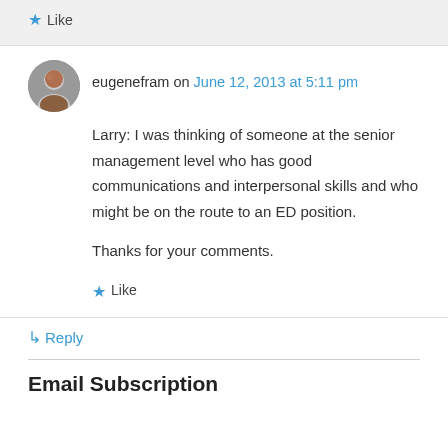★ Like
eugenefram on June 12, 2013 at 5:11 pm
Larry: I was thinking of someone at the senior management level who has good communications and interpersonal skills and who might be on the route to an ED position.

Thanks for your comments.
★ Like
↳ Reply
Email Subscription